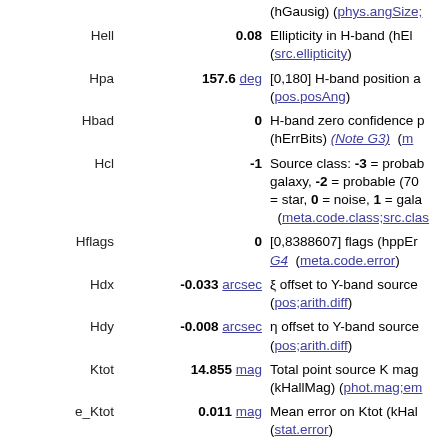| Name | Value | Description |
| --- | --- | --- |
|  |  | (hGausig) (phys.angSize;… |
| Hell | 0.08 | Ellipticity in H-band (hEl… (src.ellipticity) |
| Hpa | 157.6 deg | [0,180] H-band position a… (pos.posAng) |
| Hbad | 0 | H-band zero confidence p… (hErrBits) (Note G3) (m… |
| Hcl | -1 | Source class: -3 = probab… galaxy, -2 = probable (70… = star, 0 = noise, 1 = gala… (meta.code.class;src.clas… |
| Hflags | 0 | [0,8388607] flags (hppEr… G4) (meta.code.error) |
| Hdx | -0.033 arcsec | ξ offset to Y-band source … (pos;arith.diff) |
| Hdy | -0.008 arcsec | η offset to Y-band source … (pos;arith.diff) |
| Ktot | 14.855 mag | Total point source K mag… (kHallMag) (phot.mag;em… |
| e_Ktot | 0.011 mag | Mean error on Ktot (kHal… (stat.error) |
| pKmag | 14.764 mag | Petrosian K magnitude (k… (phot.mag;em.IR.K) |